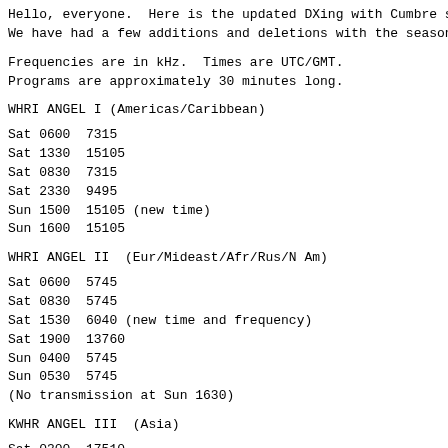Hello, everyone.  Here is the updated DXing with Cumbre s.
We have had a few additions and deletions with the season.
Frequencies are in kHz.  Times are UTC/GMT.
Programs are approximately 30 minutes long.
WHRI ANGEL I (Americas/Caribbean)
Sat 0600  7315
Sat 1330  15105
Sat 0830  7315
Sat 2330  9495
Sun 1500  15105 (new time)
Sun 1600  15105
WHRI ANGEL II  (Eur/Mideast/Afr/Rus/N Am)
Sat 0600  5745
Sat 0830  5745
Sat 1530  6040 (new time and frequency)
Sat 1900  13760
Sun 0400  5745
Sun 0530  5745
(No transmission at Sun 1630)
KWHR ANGEL III  (Asia)
Sat 0300  17510
Sat 0600  17780